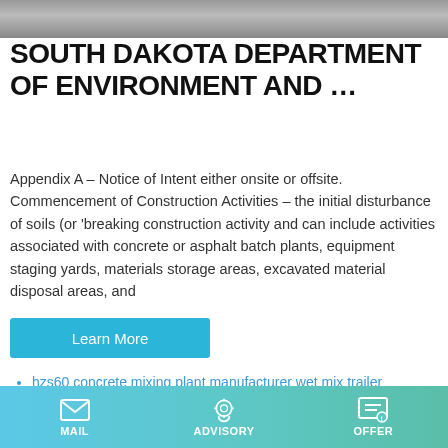[Figure (photo): Grayscale textured photograph used as a header banner, showing a rough surface or ground material.]
SOUTH DAKOTA DEPARTMENT OF ENVIRONMENT AND …
Appendix A – Notice of Intent either onsite or offsite. Commencement of Construction Activities – the initial disturbance of soils (or 'breaking construction activity and can include activities associated with concrete or asphalt batch plants, equipment staging yards, materials storage areas, excavated material disposal areas, and
hzs60 concrete mixing plant manufacturer wet mix trailer
hot sale small concrete mixer
central mix concrete batch plants 50 ton cement silo
Used old Construction Equipment 53m Concrete Pump